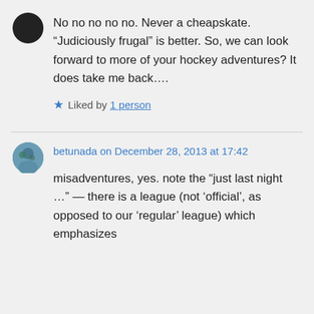[Figure (photo): Dark circular avatar image at top left]
No no no no no. Never a cheapskate. “Judiciously frugal” is better. So, we can look forward to more of your hockey adventures? It does take me back….
★ Liked by 1 person
[Figure (photo): Blue circular avatar for betunada]
betunada on December 28, 2013 at 17:42
misadventures, yes. note the “just last night …” — there is a league (not ‘official’, as opposed to our ‘regular’ league) which emphasizes